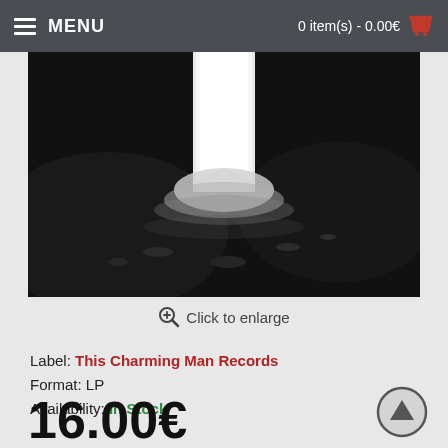MENU   0 item(s) - 0.00€
[Figure (photo): Black and white product photograph showing an abstract dark scene with a bright white rectangular shape or light source in the center against a dark background.]
Click to enlarge
Label: This Charming Man Records
Format: LP
Availability: In Stock
16.00€